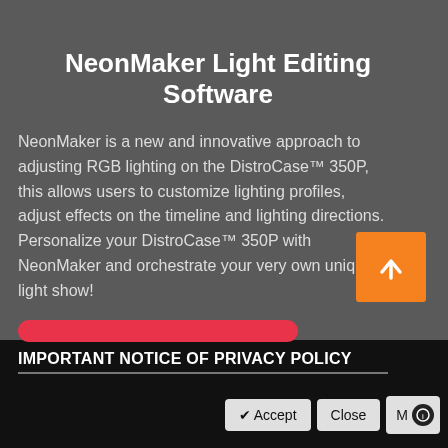NeonMaker Light Editing Software
NeonMaker is a new and innovative approach to adjusting RGB lighting on the DistroCase™ 350P, this allows users to customize lighting profiles, adjust effects on the timeline and lighting directions. Personalize your DistroCase™ 350P with NeonMaker and orchestrate your very own unique light show!
IMPORTANT NOTICE OF PRIVACY POLICY
✔ Accept  Close  M
[Figure (other): Orange square button with white upward arrow icon]